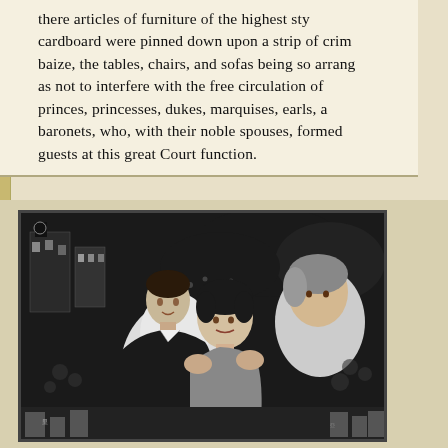there articles of furniture of the highest sty cardboard were pinned down upon a strip of crimson baize, the tables, chairs, and sofas being so arranged as not to interfere with the free circulation of princes, princesses, dukes, marquises, earls, and baronets, who, with their noble spouses, formed guests at this great Court function.
[Figure (illustration): Black and white pen-and-ink illustration showing a crowd scene with figures in the foreground (a man and woman appearing to embrace or interact closely) set against a busy urban background with buildings, crowds of people, and various architectural details.]